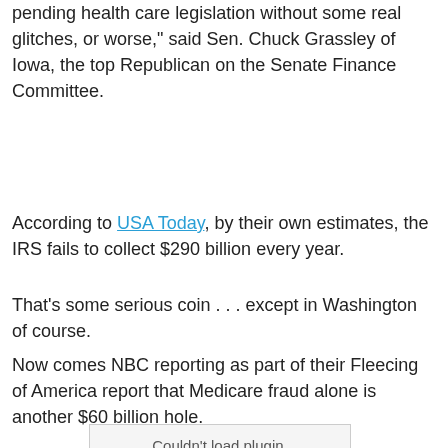pending health care legislation without some real glitches, or worse," said Sen. Chuck Grassley of Iowa, the top Republican on the Senate Finance Committee.
According to USA Today, by their own estimates, the IRS fails to collect $290 billion every year.
That's some serious coin . . . except in Washington of course.
Now comes NBC reporting as part of their Fleecing of America report that Medicare fraud alone is another $60 billion hole.
[Figure (other): Couldn't load plugin. placeholder box indicating a media plugin failed to load.]